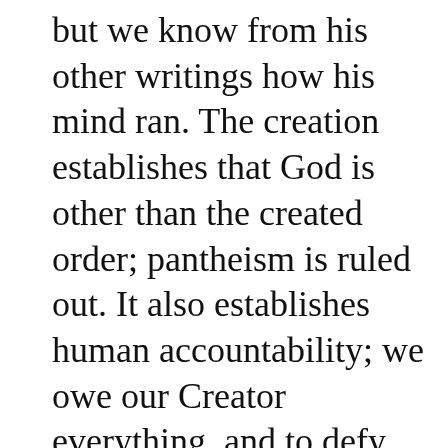but we know from his other writings how his mind ran. The creation establishes that God is other than the created order; pantheism is ruled out. It also establishes human accountability; we owe our Creator everything, and to defy him and set ourselves up as the center of the universe